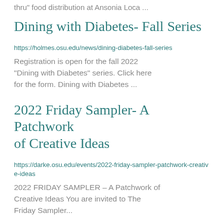thru" food distribution at Ansonia Loca ...
Dining with Diabetes- Fall Series
https://holmes.osu.edu/news/dining-diabetes-fall-series
Registration is open for the fall 2022 "Dining with Diabetes" series. Click here for the form. Dining with Diabetes ...
2022 Friday Sampler- A Patchwork of Creative Ideas
https://darke.osu.edu/events/2022-friday-sampler-patchwork-creative-ideas
2022 FRIDAY SAMPLER – A Patchwork of Creative Ideas You are invited to The Friday Sampler...